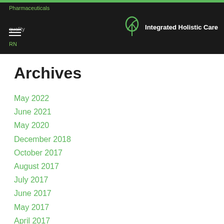Pharmaceuticals | quality | RN — Integrated Holistic Care
Archives
May 2022
June 2021
May 2020
December 2018
October 2017
August 2017
July 2017
June 2017
May 2017
April 2017
January 2017
December 2016